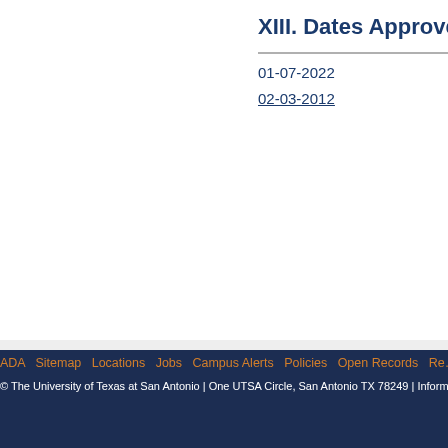XIII. Dates Approved/Am…
01-07-2022
02-03-2012
New, Revised and Deleted Policies
Policy Amendment Approval Process
UT System - Regents' Rules & Regulations
UT System - Policy Library
ADA  Sitemap  Locations  Jobs  Campus Alerts  Policies  Open Records  Re…
© The University of Texas at San Antonio | One UTSA Circle, San Antonio TX 78249 | Informa…